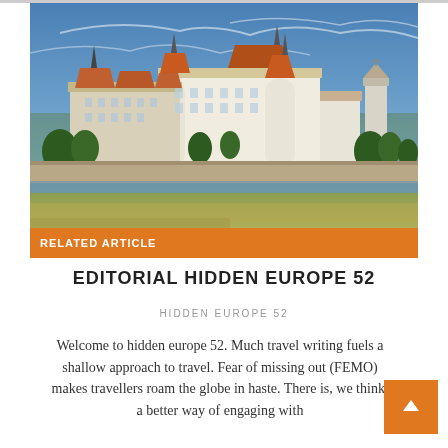[Figure (photo): Photograph of a European castle/palace complex (likely Torgau, Germany) with white and orange-roofed buildings reflected near a riverbank with green grass in the foreground and blue sky above.]
RELATED ARTICLE
EDITORIAL HIDDEN EUROPE 52
HIDDEN EUROPE 52
Welcome to hidden europe 52. Much travel writing fuels a shallow approach to travel. Fear of missing out (FEMO) makes travellers roam the globe in haste. There is, we think, a better way of engaging with